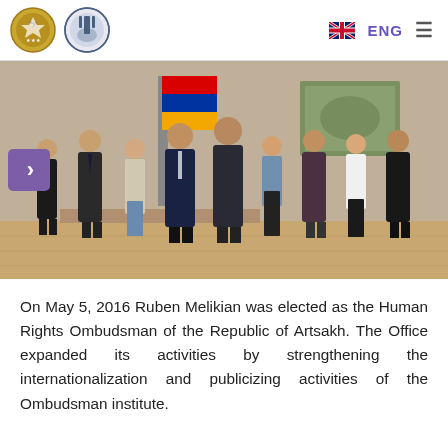ENG [navigation header with two logos and hamburger menu]
[Figure (photo): Group photo of approximately 10 people standing in a formal room with an Armenian flag visible in the background. The group includes men and women in formal attire.]
On May 5, 2016 Ruben Melikian was elected as the Human Rights Ombudsman of the Republic of Artsakh. The Office expanded its activities by strengthening the internationalization and publicizing activities of the Ombudsman institute.